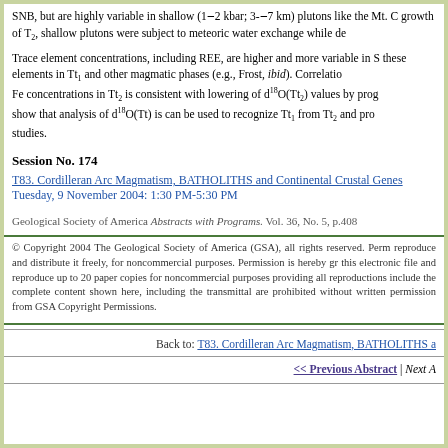SNB, but are highly variable in shallow (1–2 kbar; 3–7 km) plutons like the Mt. C growth of T₂, shallow plutons were subject to meteoric water exchange while de
Trace element concentrations, including REE, are higher and more variable in S these elements in Tt₁ and other magmatic phases (e.g., Frost, ibid). Correlation Fe concentrations in Tt₂ is consistent with lowering of d¹⁸O(Tt₂) values by prog show that analysis of d¹⁸O(Tt) is can be used to recognize Tt₁ from Tt₂ and pro studies.
Session No. 174
T83. Cordilleran Arc Magmatism, BATHOLITHS and Continental Crustal Genes
Tuesday, 9 November 2004: 1:30 PM-5:30 PM
Geological Society of America Abstracts with Programs. Vol. 36, No. 5, p.408
© Copyright 2004 The Geological Society of America (GSA), all rights reserved. Perm reproduce and distribute it freely, for noncommercial purposes. Permission is hereby gr this electronic file and reproduce up to 20 paper copies for noncommercial purposes providing all reproductions include the complete content shown here, including the transmittal are prohibited without written permission from GSA Copyright Permissions.
Back to: T83. Cordilleran Arc Magmatism, BATHOLITHS a
<< Previous Abstract | Next A